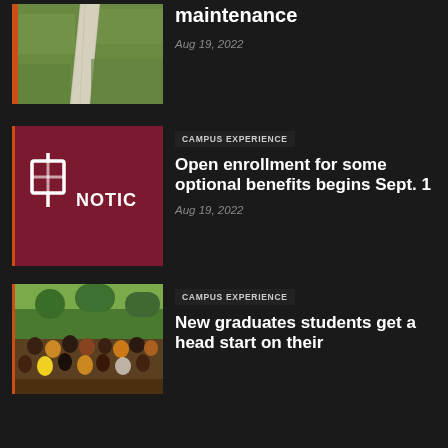[Figure (photo): Aerial view of a grass lawn with a concrete path, with orange left border]
maintenance
Aug 19, 2022
[Figure (illustration): Dark red/maroon square with a pushpin icon on the left and 'NOTICE' text on the right in white, partially cropped]
CAMPUS EXPERIENCE
Open enrollment for some optional benefits begins Sept. 1
Aug 19, 2022
[Figure (photo): Group photo of graduate students outdoors with greenery in the background, orange left border]
CAMPUS EXPERIENCE
New graduates students get a head start on their education during Sept...